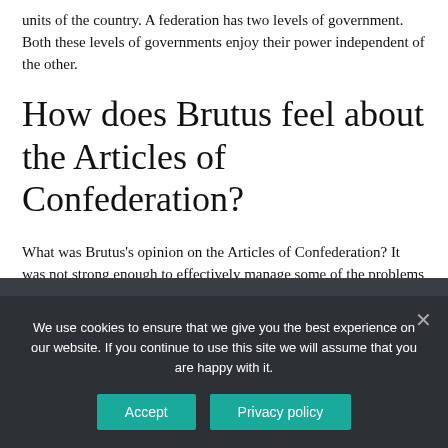units of the country. A federation has two levels of government. Both these levels of governments enjoy their power independent of the other.
How does Brutus feel about the Articles of Confederation?
What was Brutus's opinion on the Articles of Confederation? It was not strong enough to effectively manage some of the problems of the nation.
We use cookies to ensure that we give you the best experience on our website. If you continue to use this site we will assume that you are happy with it.